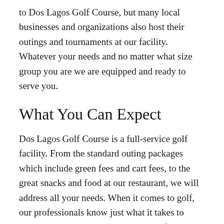to Dos Lagos Golf Course, but many local businesses and organizations also host their outings and tournaments at our facility. Whatever your needs and no matter what size group you are we are equipped and ready to serve you.
What You Can Expect
Dos Lagos Golf Course is a full-service golf facility. From the standard outing packages which include green fees and cart fees, to the great snacks and food at our restaurant, we will address all your needs. When it comes to golf, our professionals know just what it takes to conduct a smooth event. Their years of experience will be evident from the moment you begin planning your event. Attention to detail is our motto when hosting events.